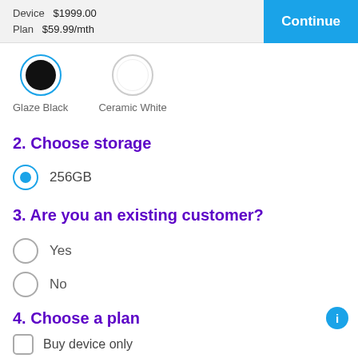Device $1999.00  Plan $59.99/mth  Continue
[Figure (other): Color selection: Glaze Black (selected, shown with blue border circle around black filled circle) and Ceramic White (unselected, shown with gray border circle)]
Glaze Black
Ceramic White
2. Choose storage
256GB (selected radio button)
3. Are you an existing customer?
Yes
No
4. Choose a plan
Buy device only